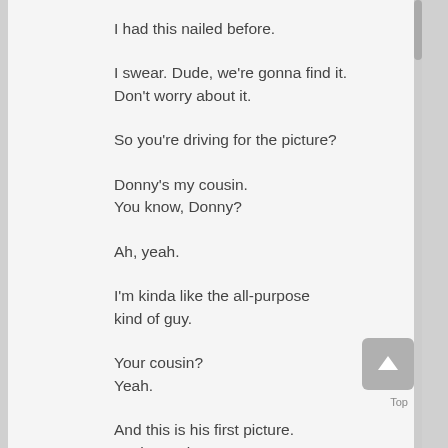I had this nailed before.
I swear. Dude, we're gonna find it.
Don't worry about it.
So you're driving for the picture?
Donny's my cousin.
You know, Donny?
Ah, yeah.
I'm kinda like the all-purpose
kind of guy.
Your cousin?
Yeah.
And this is his first picture.
Yeah, you know.
I guess that thing we did